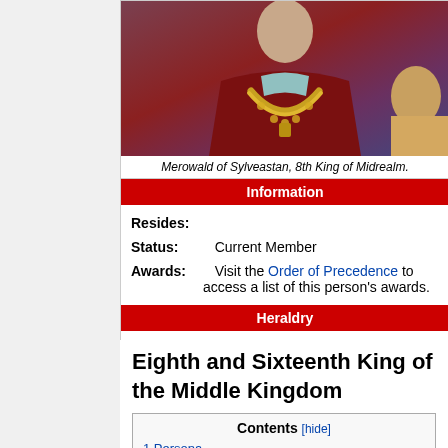[Figure (photo): Photo of Merowald of Sylveastan wearing a red robe and large gold chain necklace]
Merowald of Sylveastan, 8th King of Midrealm.
| Resides: |  |
| Status: | Current Member |
| Awards: | Visit the Order of Precedence to access a list of this person's awards. |
Heraldry
[Figure (illustration): Missing Image shield placeholder]
device description
Eighth and Sixteenth King of the Middle Kingdom
Contents [hide]
1 Persona